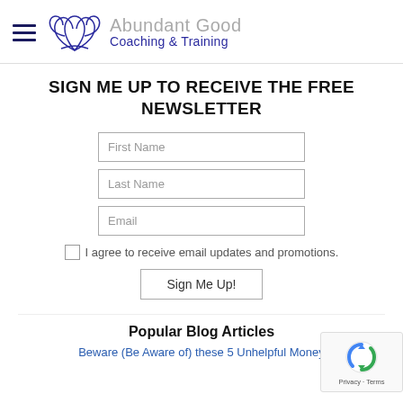Abundant Good Coaching & Training
SIGN ME UP TO RECEIVE THE FREE NEWSLETTER
First Name
Last Name
Email
I agree to receive email updates and promotions.
Sign Me Up!
Popular Blog Articles
Beware (Be Aware of) these 5 Unhelpful Money